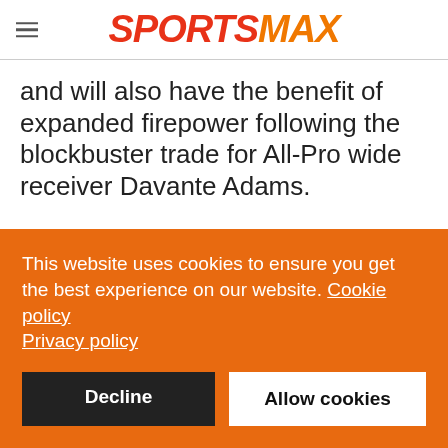SPORTSMAX
and will also have the benefit of expanded firepower following the blockbuster trade for All-Pro wide receiver Davante Adams.
This website uses cookies to ensure you get the best experience on our website. Cookie policy Privacy policy
Decline   Allow cookies